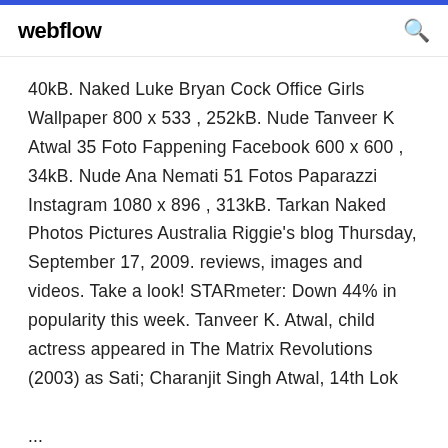webflow
40kB. Naked Luke Bryan Cock Office Girls Wallpaper 800 x 533 , 252kB. Nude Tanveer K Atwal 35 Foto Fappening Facebook 600 x 600 , 34kB. Nude Ana Nemati 51 Fotos Paparazzi Instagram 1080 x 896 , 313kB. Tarkan Naked Photos Pictures Australia Riggie's blog Thursday, September 17, 2009. reviews, images and videos. Take a look! STARmeter: Down 44% in popularity this week. Tanveer K. Atwal, child actress appeared in The Matrix Revolutions (2003) as Sati; Charanjit Singh Atwal, 14th Lok ...
10/07/2018 · Amazon.co.uk - Buy The Matrix Revolutions at a low price, free delivery on